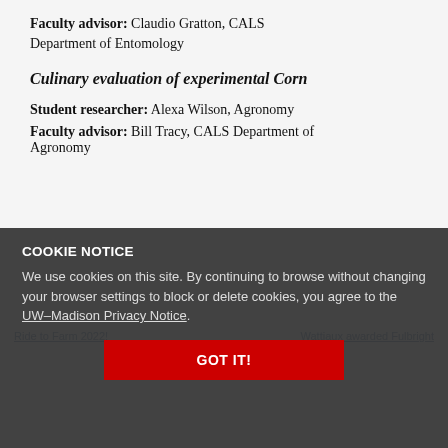Faculty advisor: Claudio Gratton, CALS Department of Entomology
Culinary evaluation of experimental Corn
Student researcher: Alexa Wilson, Agronomy
Faculty advisor: Bill Tracy, CALS Department of Agronomy
COOKIE NOTICE
We use cookies on this site. By continuing to browse without changing your browser settings to block or delete cookies, you agree to the UW–Madison Privacy Notice.